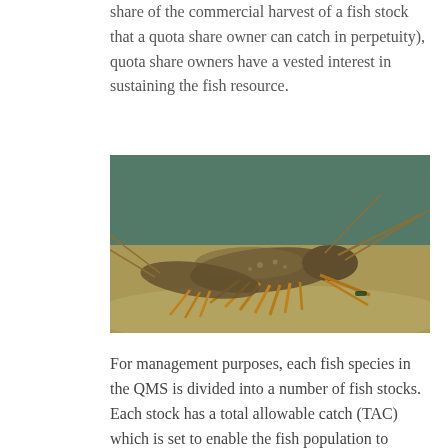share of the commercial harvest of a fish stock that a quota share owner can catch in perpetuity), quota share owners have a vested interest in sustaining the fish resource.
[Figure (photo): Underwater photograph showing spiny lobsters on the seafloor with orange and yellow coloring, viewed from close up.]
For management purposes, each fish species in the QMS is divided into a number of fish stocks. Each stock has a total allowable catch (TAC) which is set to enable the fish population to produce the maximum sustainable yield. This is the level